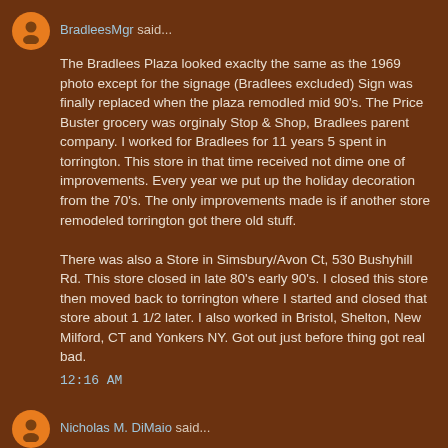BradleesMgr said...
The Bradlees Plaza looked exaclty the same as the 1969 photo except for the signage (Bradlees excluded) Sign was finally replaced when the plaza remodled mid 90's. The Price Buster grocery was orginaly Stop & Shop, Bradlees parent company. I worked for Bradlees for 11 years 5 spent in torrington. This store in that time received not dime one of improvements. Every year we put up the holiday decoration from the 70's. The only improvements made is if another store remodeled torrington got there old stuff.

There was also a Store in Simsbury/Avon Ct, 530 Bushyhill Rd. This store closed in late 80's early 90's. I closed this store then moved back to torrington where I started and closed that store about 1 1/2 later. I also worked in Bristol, Shelton, New Milford, CT and Yonkers NY. Got out just before thing got real bad.
12:16 AM
Nicholas M. DiMaio said...
So there indeed was a Bradlees in Avon/Simsbury? 530 Bushy